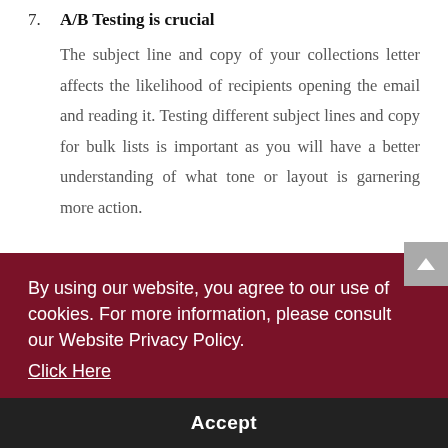7. A/B Testing is crucial
The subject line and copy of your collections letter affects the likelihood of recipients opening the email and reading it. Testing different subject lines and copy for bulk lists is important as you will have a better understanding of what tone or layout is garnering more action.
8. Is your software smart enough? (partial)
(partially obscured text behind cookie banner) ...ted ...hat ...hay ...an ...gn ...ult
By using our website, you agree to our use of cookies. For more information, please consult our Website Privacy Policy.
Click Here
Accept